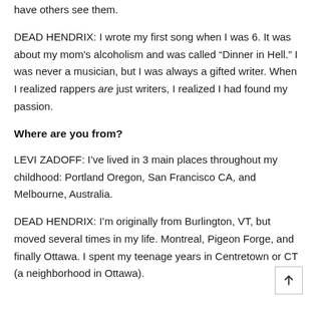have others see them.
DEAD HENDRIX: I wrote my first song when I was 6. It was about my mom's alcoholism and was called “Dinner in Hell.” I was never a musician, but I was always a gifted writer. When I realized rappers are just writers, I realized I had found my passion.
Where are you from?
LEVI ZADOFF: I’ve lived in 3 main places throughout my childhood: Portland Oregon, San Francisco CA, and Melbourne, Australia.
DEAD HENDRIX: I’m originally from Burlington, VT, but moved several times in my life. Montreal, Pigeon Forge, and finally Ottawa. I spent my teenage years in Centretown or CT (a neighborhood in Ottawa).